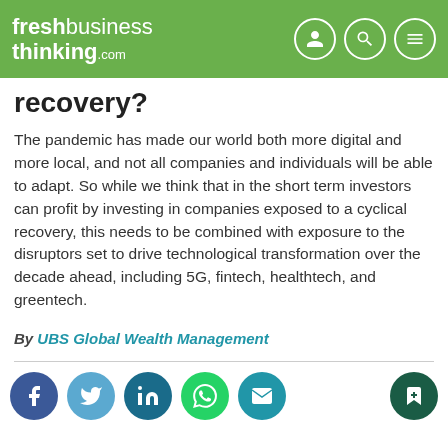freshbusiness thinking.com
recovery?
The pandemic has made our world both more digital and more local, and not all companies and individuals will be able to adapt. So while we think that in the short term investors can profit by investing in companies exposed to a cyclical recovery, this needs to be combined with exposure to the disruptors set to drive technological transformation over the decade ahead, including 5G, fintech, healthtech, and greentech.
By UBS Global Wealth Management
[Figure (other): Social sharing icon buttons: Facebook, Twitter, LinkedIn, WhatsApp, Email, and a bookmark/save button on the right]